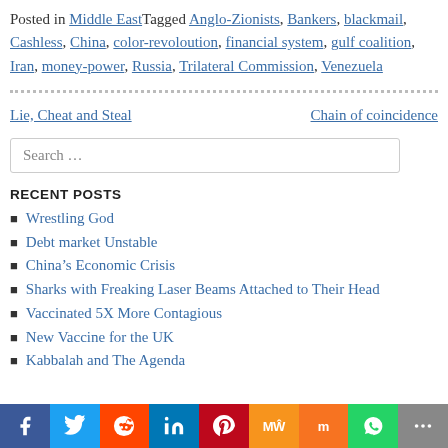Posted in Middle East Tagged Anglo-Zionists, Bankers, blackmail, Cashless, China, color-revoloution, financial system, gulf coalition, Iran, money-power, Russia, Trilateral Commission, Venezuela
Lie, Cheat and Steal | Chain of coincidence
Search …
RECENT POSTS
Wrestling God
Debt market Unstable
China's Economic Crisis
Sharks with Freaking Laser Beams Attached to Their Head
Vaccinated 5X More Contagious
New Vaccine for the UK
Kabbalah and The Agenda
f | Twitter | Reddit | in | Pinterest | MW | Mix | WhatsApp | More